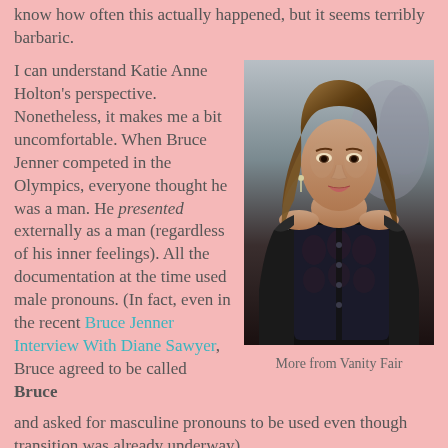know how often this actually happened, but it seems terribly barbaric.
I can understand Katie Anne Holton's perspective. Nonetheless, it makes me a bit uncomfortable. When Bruce Jenner competed in the Olympics, everyone thought he was a man. He presented externally as a man (regardless of his inner feelings). All the documentation at the time used male pronouns. (In fact, even in the recent Bruce Jenner Interview With Diane Sawyer, Bruce agreed to be called Bruce and asked for masculine pronouns to be used even though transition was already underway).
[Figure (photo): Photo of Caitlyn Jenner wearing a black lace corset and leather jacket, looking at the camera]
More from Vanity Fair